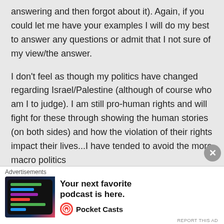answering and then forgot about it). Again, if you could let me have your examples I will do my best to answer any questions or admit that I not sure of my view/the answer.
I don't feel as though my politics have changed regarding Israel/Palestine (although of course who am I to judge). I am still pro-human rights and will fight for these through showing the human stories (on both sides) and how the violation of their rights impact their lives...I have tended to avoid the more macro politics
Advertisements
[Figure (screenshot): Pocket Casts podcast app advertisement: 'Your next favorite podcast is here.' with Pocket Casts logo.]